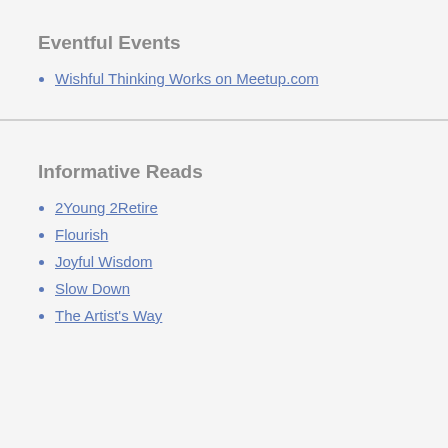Eventful Events
Wishful Thinking Works on Meetup.com
Informative Reads
2Young 2Retire
Flourish
Joyful Wisdom
Slow Down
The Artist's Way